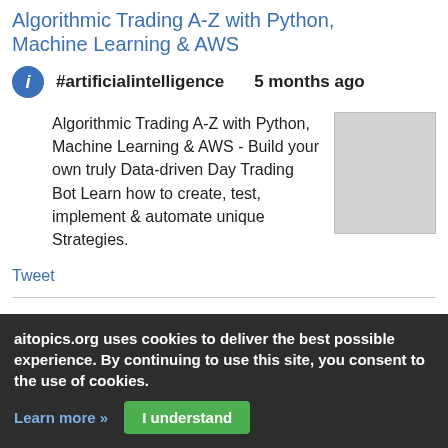Algorithmic Trading A-Z with Python, Machine Learning & AWS
#artificialintelligence   5 months ago
Algorithmic Trading A-Z with Python, Machine Learning & AWS - Build your own truly Data-driven Day Trading Bot Learn how to create, test, implement & automate unique Strategies.
Tweet
Algorithmic Trading A-Z with Python, Machine Learning & AWS
#artificialintelligence   6 months ago
aitopics.org uses cookies to deliver the best possible experience. By continuing to use this site, you consent to the use of cookies.